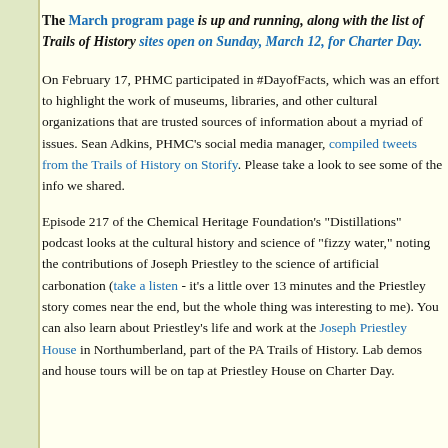The March program page is up and running, along with the list of Trails of History sites open on Sunday, March 12, for Charter Day.
On February 17, PHMC participated in #DayofFacts, which was an effort to highlight the work of museums, libraries, and other cultural organizations that are trusted sources of information about a myriad of issues. Sean Adkins, PHMC's social media manager, compiled tweets from the Trails of History on Storify. Please take a look to see some of the info we shared.
Episode 217 of the Chemical Heritage Foundation's "Distillations" podcast looks at the cultural history and science of "fizzy water," noting the contributions of Joseph Priestley to the science of artificial carbonation (take a listen - it's a little over 13 minutes and the Priestley story comes near the end, but the whole thing was interesting to me). You can also learn about Priestley's life and work at the Joseph Priestley House in Northumberland, part of the PA Trails of History. Lab demos and house tours will be on tap at Priestley House on Charter Day.